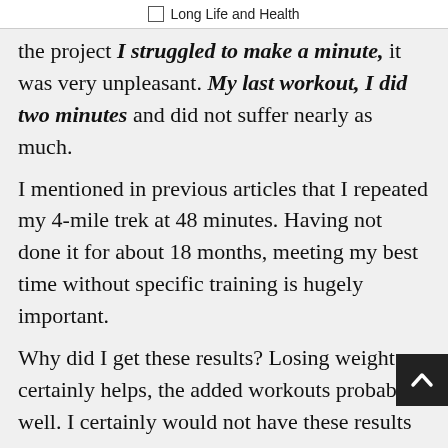Long Life and Health
the project I struggled to make a minute, it was very unpleasant. My last workout, I did two minutes and did not suffer nearly as much.
I mentioned in previous articles that I repeated my 4-mile trek at 48 minutes. Having not done it for about 18 months, meeting my best time without specific training is hugely important.
Why did I get these results? Losing weight certainly helps, the added workouts probably well. I certainly would not have these results